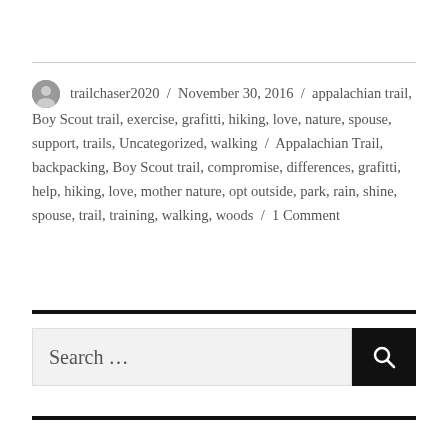trailchaser2020 / November 30, 2016 / appalachian trail, Boy Scout trail, exercise, grafitti, hiking, love, nature, spouse, support, trails, Uncategorized, walking / Appalachian Trail, backpacking, Boy Scout trail, compromise, differences, grafitti, help, hiking, love, mother nature, opt outside, park, rain, shine, spouse, trail, training, walking, woods / 1 Comment
[Figure (other): Search bar with text input field showing 'Search ...' placeholder and a black button with magnifying glass icon]